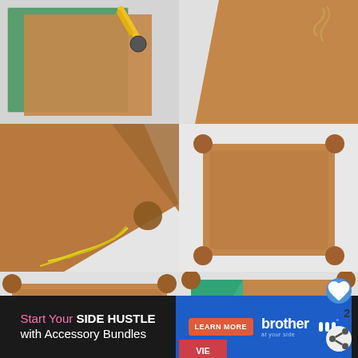[Figure (photo): Leather sheet with rotary cutter on cutting mat]
[Figure (photo): Corner of leather piece with twine/string tied]
[Figure (photo): Corner of leather being sewn with yellow thread]
[Figure (photo): Completed leather tray viewed from above, flat]
[Figure (photo): Leather tray with paint bottle and brush inside]
[Figure (photo): Leather tray with teal/turquoise lining visible, with UI overlays: heart button (2 likes), share button, What's Next: DIY Rope Basket and...]
[Figure (infographic): Brother advertisement banner: Start Your SIDE HUSTLE with Accessory Bundles, LEARN MORE button, Brother at your side logo]